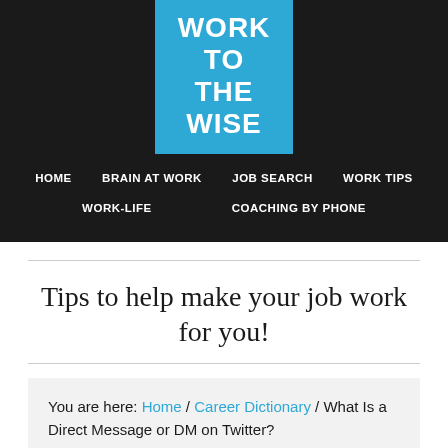WORK TO THE WISE
HOME  BRAIN AT WORK  JOB SEARCH  WORK TIPS  WORK-LIFE  COACHING BY PHONE
Tips to help make your job work for you!
You are here: Home / Career Dictionary / What Is a Direct Message or DM on Twitter?